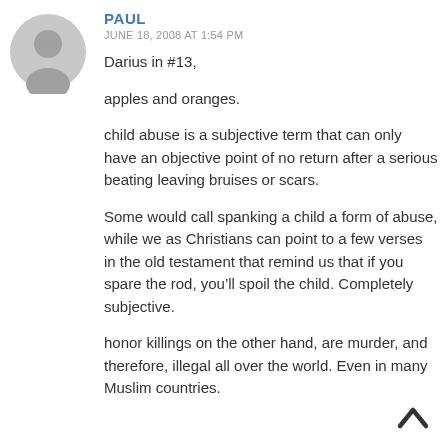[Figure (illustration): Gray circular avatar placeholder icon showing a silhouette of a person's head and shoulders]
PAUL
JUNE 18, 2008 AT 1:54 PM
Darius in #13,
apples and oranges.
child abuse is a subjective term that can only have an objective point of no return after a serious beating leaving bruises or scars.
Some would call spanking a child a form of abuse, while we as Christians can point to a few verses in the old testament that remind us that if you spare the rod, you’ll spoil the child. Completely subjective.
honor killings on the other hand, are murder, and therefore, illegal all over the world. Even in many Muslim countries.